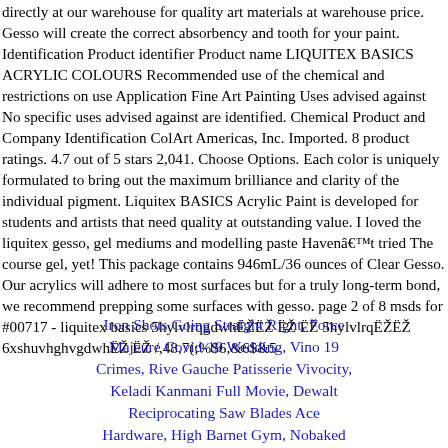directly at our warehouse for quality art materials at warehouse price. Gesso will create the correct absorbency and tooth for your paint. Identification Product identifier Product name LIQUITEX BASICS ACRYLIC COLOURS Recommended use of the chemical and restrictions on use Application Fine Art Painting Uses advised against No specific uses advised against are identified. Chemical Product and Company Identification ColArt Americas, Inc. Imported. 8 product ratings. 4.7 out of 5 stars 2,041. Choose Options. Each color is uniquely formulated to bring out the maximum brilliance and clarity of the individual pigment. Liquitex BASICS Acrylic Paint is developed for students and artists that need quality at outstanding value. I loved the liquitex gesso, gel mediums and modelling paste Havenât tried The course gel, yet! This package contains 946mL/36 ounces of Clear Gesso. Our acrylics will adhere to most surfaces but for a truly long-term bond, we recommend prepping some surfaces with gesso. page 2 of 8 msds for #00717 - liquitex basics 5hylvlrqgdwhËĞŧ Ğŧ Ğŧ 5hylvlrqĞŧĞŧ 6xshuvhghvgdwhĞŧ Ğŧ /,48,7(;%$6,&6$&5
Iron Shots Going Straight Right, Force Majeure Covid-19 Wedding, Vino 19 Crimes, Rive Gauche Patisserie Vivocity, Keladi Kanmani Full Movie, Dewalt Reciprocating Saw Blades Ace Hardware, High Barnet Gym, Nobaked